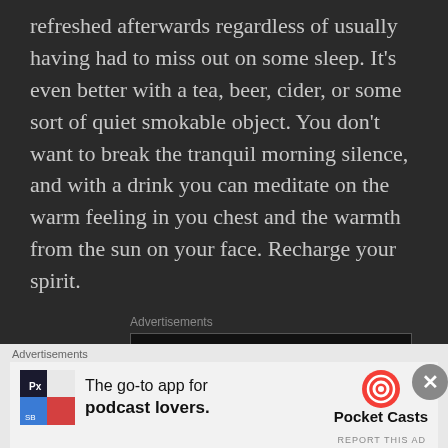refreshed afterwards regardless of usually having had to miss out on some sleep. It’s even better with a tea, beer, cider, or some sort of quiet smokable object. You don’t want to break the tranquil morning silence, and with a drink you can meditate on the warm feeling in you chest and the warmth from the sun on your face. Recharge your spirit.
[Figure (screenshot): Longreads advertisement banner with red circle logo and tagline 'Read anything great lately?']
Have you ever managed to separate yourself from that constantly talking voice in your head that we usually
[Figure (screenshot): Pocket Casts advertisement banner: 'The go-to app for podcast lovers.' with colorful logo tiles and Pocket Casts branding]